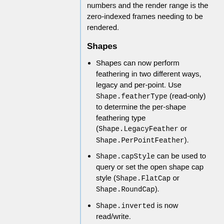numbers and the render range is the zero-indexed frames needing to be rendered.
Shapes
Shapes can now perform feathering in two different ways, legacy and per-point. Use Shape.featherType (read-only) to determine the per-shape feathering type (Shape.LegacyFeather or Shape.PerPointFeather).
Shape.capStyle can be used to query or set the open shape cap style (Shape.FlatCap or Shape.RoundCap).
Shape.inverted is now read/write.
ShapePath.insertPoint(t) can be used to insert a new control point at t.